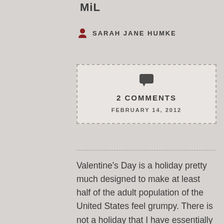MiL
SARAH JANE HUMKE
2 COMMENTS
FEBRUARY 14, 2012
Valentine's Day is a holiday pretty much designed to make at least half of the adult population of the United States feel grumpy.  There is not a holiday that I have essentially said “Bah Humbug!”  to more.  I was single for a good long chunk before I